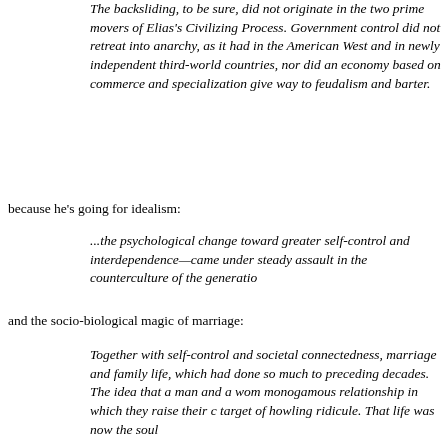The backsliding, to be sure, did not originate in the two prime movers of Elias's Civilizing Process. Government control did not retreat into anarchy, as it had in the American West and in newly independent third-world countries, nor did an economy based on commerce and specialization give way to feudalism and barter.
because he's going for idealism:
...the psychological change toward greater self-control and interdependence—came under steady assault in the counterculture of the generatio...
and the socio-biological magic of marriage:
Together with self-control and societal connectedness, marriage and family life, which had done so much to... preceding decades. The idea that a man and a wom... monogamous relationship in which they raise their c... target of howling ridicule. That life was now the soul...